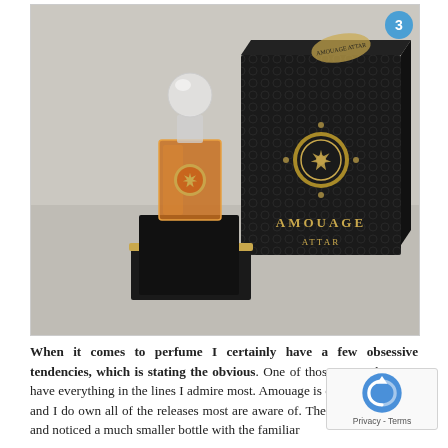[Figure (photo): A photo of an Amouage Attar perfume bottle with a spherical glass stopper, amber-colored liquid, gold decorative emblem, sitting in a black and gold box. Next to it is the black textured packaging box with gold Amouage logo and the word ATTAR printed in gold letters.]
When it comes to perfume I certainly have a few obsessive tendencies, which is stating the obvious. One of those is my desire to have everything in the lines I admire most. Amouage is one of those lines and I do own all of the releases most are aware of. Then I was in a shop and noticed a much smaller bottle with the familiar